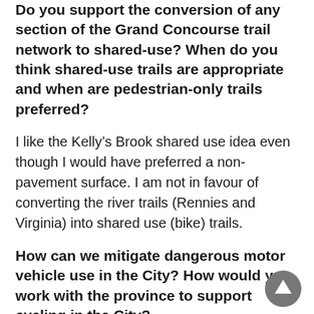Do you support the conversion of any section of the Grand Concourse trail network to shared-use? When do you think shared-use trails are appropriate and when are pedestrian-only trails preferred?
I like the Kelly’s Brook shared use idea even though I would have preferred a non-pavement surface. I am not in favour of converting the river trails (Rennies and Virginia) into shared use (bike) trails.
How can we mitigate dangerous motor vehicle use in the City? How would you work with the province to support cycling in the City?